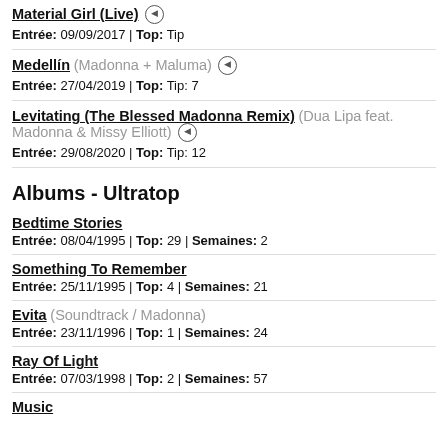Material Girl (Live) ◄
Entrée: 09/09/2017 | Top: Tip
Medellín (Madonna + Maluma) ◄
Entrée: 27/04/2019 | Top: Tip: 7
Levitating (The Blessed Madonna Remix) (Dua Lipa feat. Madonna & Missy Elliott) ◄
Entrée: 29/08/2020 | Top: Tip: 12
Albums - Ultratop
Bedtime Stories
Entrée: 08/04/1995 | Top: 29 | Semaines: 2
Something To Remember
Entrée: 25/11/1995 | Top: 4 | Semaines: 21
Evita (Soundtrack / Madonna)
Entrée: 23/11/1996 | Top: 1 | Semaines: 24
Ray Of Light
Entrée: 07/03/1998 | Top: 2 | Semaines: 57
Music